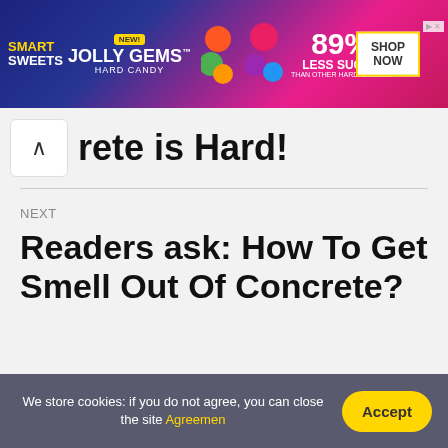[Figure (other): Smart Sweets Jolly Gems advertisement banner. Blue/pink gradient background with text: SMART SWEETS, NEW!, JOLLY GEMS HARD CANDY, 89% LESS SUGAR THAN OTHER HARD CANDIES, SHOP NOW button with yellow border.]
…rete is Hard?
NEXT
Readers ask: How To Get Smell Out Of Concrete?
We store cookies: if you do not agree, you can close the site Agreemen
Accept